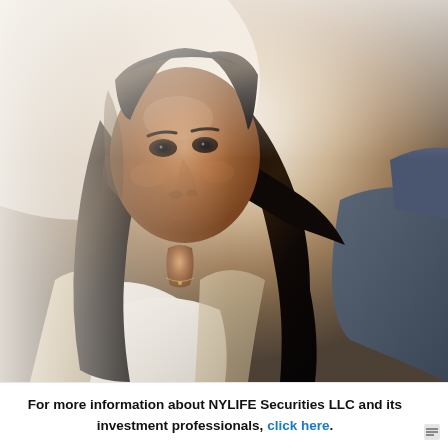[Figure (photo): Close-up selfie portrait of a woman with long dark hair, smiling, wearing a white top and tan jacket. Another person partially visible on the right in a dark jacket. Background is light/white.]
For more information about NYLIFE Securities LLC and its investment professionals, click here.